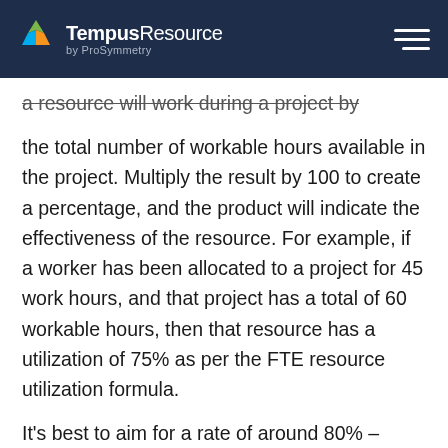Tempus Resource by ProSymmetry
a resource will work during a project by the total number of workable hours available in the project. Multiply the result by 100 to create a percentage, and the product will indicate the effectiveness of the resource. For example, if a worker has been allocated to a project for 45 work hours, and that project has a total of 60 workable hours, then that resource has a utilization of 75% as per the FTE resource utilization formula.
It's best to aim for a rate of around 80% –